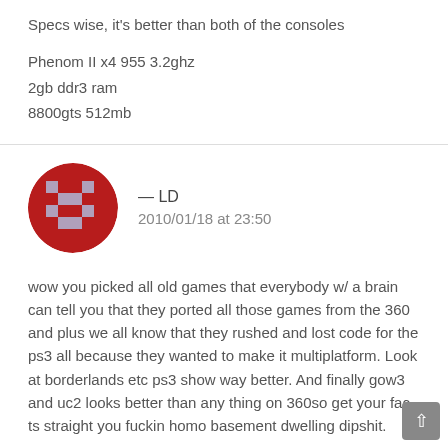Specs wise, it's better than both of the consoles
Phenom II x4 955 3.2ghz
2gb ddr3 ram
8800gts 512mb
— LD
2010/01/18 at 23:50
wow you picked all old games that everybody w/ a brain can tell you that they ported all those games from the 360 and plus we all know that they rushed and lost code for the ps3 all because they wanted to make it multiplatform. Look at borderlands etc ps3 show way better. And finally gow3 and uc2 looks better than any thing on 360so get your fac ts straight you fuckin homo basement dwelling dipshit.